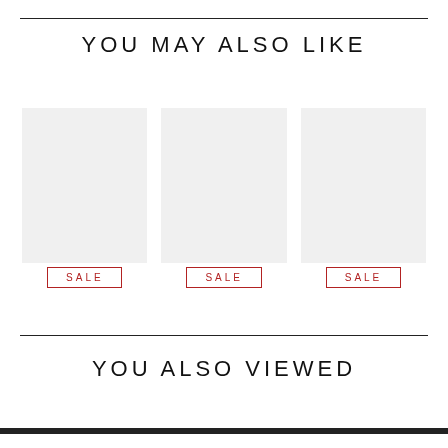YOU MAY ALSO LIKE
[Figure (screenshot): Three placeholder product image boxes with light gray background arranged in a row]
SALE
SALE
SALE
YOU ALSO VIEWED